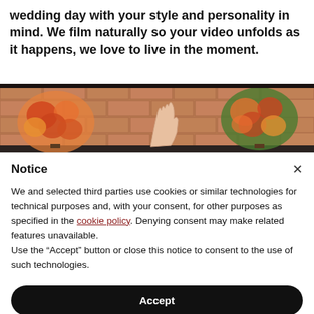wedding day with your style and personality in mind. We film naturally so your video unfolds as it happens, we love to live in the moment.
[Figure (photo): A photo of a wedding venue with a brick wall background, floral arrangements on either side, and a hand raised in the center.]
Notice
We and selected third parties use cookies or similar technologies for technical purposes and, with your consent, for other purposes as specified in the cookie policy. Denying consent may make related features unavailable.
Use the “Accept” button or close this notice to consent to the use of such technologies.
Accept
Learn more and customize